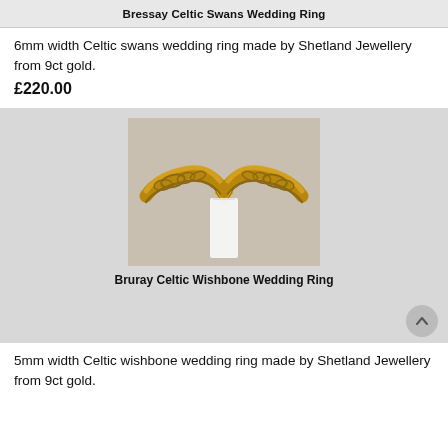Bressay Celtic Swans Wedding Ring
6mm width Celtic swans wedding ring made by Shetland Jewellery from 9ct gold.
£220.00
[Figure (photo): Photo of a gold Celtic wishbone wedding ring displayed on a white card stand against a light background. The ring has an ornate Celtic knotwork pattern along the band and forms a V/wishbone shape at the top.]
Bruray Celtic Wishbone Wedding Ring
5mm width Celtic wishbone wedding ring made by Shetland Jewellery from 9ct gold.